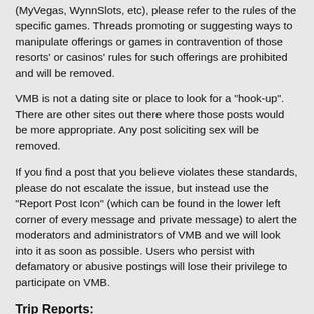(MyVegas, WynnSlots, etc), please refer to the rules of the specific games. Threads promoting or suggesting ways to manipulate offerings or games in contravention of those resorts' or casinos' rules for such offerings are prohibited and will be removed.
VMB is not a dating site or place to look for a "hook-up". There are other sites out there where those posts would be more appropriate. Any post soliciting sex will be removed.
If you find a post that you believe violates these standards, please do not escalate the issue, but instead use the "Report Post Icon" (which can be found in the lower left corner of every message and private message) to alert the moderators and administrators of VMB and we will look into it as soon as possible. Users who persist with defamatory or abusive postings will lose their privilege to participate on VMB.
Trip Reports:
VMB understands that writing a trip report can be time consuming. We suggest that you compose your report offline and then cut and paste your entire trip report to VMB. Please contact a moderator or administrator if you need help with this.
A link to a post on another message board or blog is not considered a trip report. Trip Reports at a minimum must contain a detailed summary of your trip with a link to the full report and/or pictures. Please see the Trip Report Rules & Guidelines sticky in the Trip Rep...